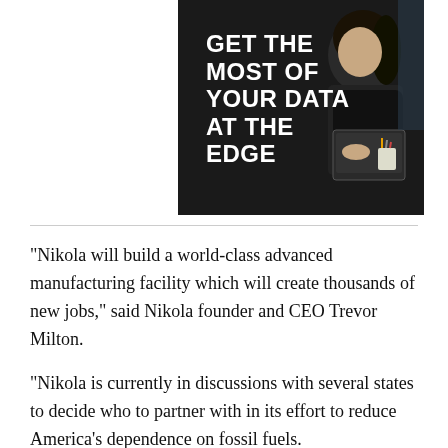[Figure (photo): Advertisement image with a woman in black working at a laptop in a dark setting, with bold white text overlay reading 'GET THE MOST OF YOUR DATA AT THE EDGE']
"Nikola will build a world-class advanced manufacturing facility which will create thousands of new jobs," said Nikola founder and CEO Trevor Milton.
"Nikola is currently in discussions with several states to decide who to partner with in its effort to reduce America's dependence on fossil fuels.